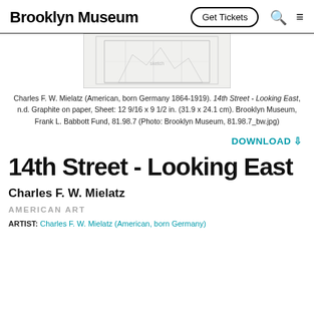Brooklyn Museum | Get Tickets
[Figure (photo): Partial view of artwork: 14th Street - Looking East, a graphite on paper sketch showing a street scene, partially cropped at top]
Charles F. W. Mielatz (American, born Germany 1864-1919). 14th Street - Looking East, n.d. Graphite on paper, Sheet: 12 9/16 x 9 1/2 in. (31.9 x 24.1 cm). Brooklyn Museum, Frank L. Babbott Fund, 81.98.7 (Photo: Brooklyn Museum, 81.98.7_bw.jpg)
DOWNLOAD ⇩
14th Street - Looking East
Charles F. W. Mielatz
AMERICAN ART
ARTIST: Charles F. W. Mielatz (American, born Germany)